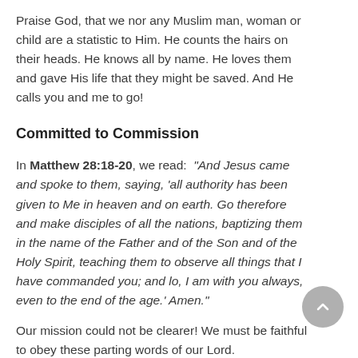Praise God, that we nor any Muslim man, woman or child are a statistic to Him. He counts the hairs on their heads. He knows all by name. He loves them and gave His life that they might be saved. And He calls you and me to go!
Committed to Commission
In Matthew 28:18-20, we read: "And Jesus came and spoke to them, saying, 'all authority has been given to Me in heaven and on earth. Go therefore and make disciples of all the nations, baptizing them in the name of the Father and of the Son and of the Holy Spirit, teaching them to observe all things that I have commanded you; and lo, I am with you always, even to the end of the age.' Amen."
Our mission could not be clearer! We must be faithful to obey these parting words of our Lord.